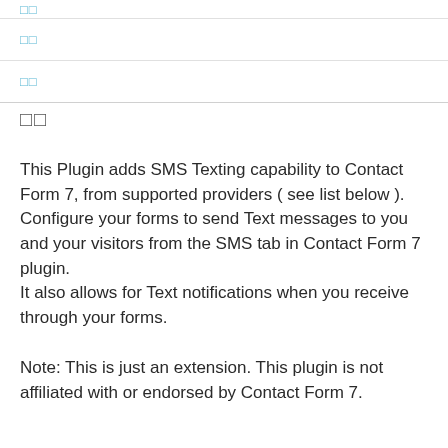□□
□□
□□
□□
This Plugin adds SMS Texting capability to Contact Form 7, from supported providers ( see list below ). Configure your forms to send Text messages to you and your visitors from the SMS tab in Contact Form 7 plugin.
It also allows for Text notifications when you receive through your forms.
Note: This is just an extension. This plugin is not affiliated with or endorsed by Contact Form 7.